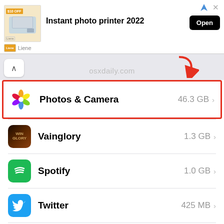[Figure (screenshot): Advertisement banner for Liene Instant photo printer 2022 with Open button]
[Figure (screenshot): iOS settings app list showing storage used by apps: Photos & Camera 46.3 GB (highlighted with red border and red arrow), Vainglory 1.3 GB, Spotify 1.0 GB, Twitter 425 MB, Instagram 266 MB, and partial row at bottom. Watermark osxdaily.com visible.]